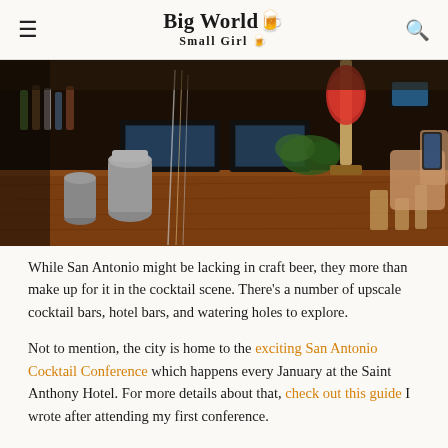Big World Small Girl
[Figure (photo): Interior of an upscale cocktail bar showing the bar counter with copper shaker tins, glassware, bottles, refrigerator units, and patrons seated at the bar with warm wood tones]
While San Antonio might be lacking in craft beer, they more than make up for it in the cocktail scene. There’s a number of upscale cocktail bars, hotel bars, and watering holes to explore.
Not to mention, the city is home to the exciting San Antonio Cocktail Conference which happens every January at the Saint Anthony Hotel. For more details about that, check out this guide I wrote after attending my first conference.